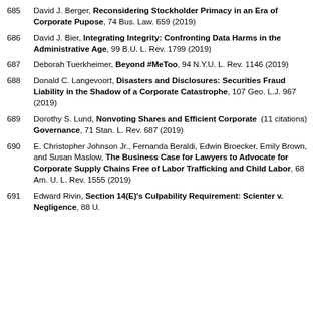685 David J. Berger, Reconsidering Stockholder Primacy in an Era of Corporate Pupose, 74 Bus. Law. 659 (2019)
686 David J. Bier, Integrating Integrity: Confronting Data Harms in the Administrative Age, 99 B.U. L. Rev. 1799 (2019)
687 Deborah Tuerkheimer, Beyond #MeToo, 94 N.Y.U. L. Rev. 1146 (2019)
688 Donald C. Langevoort, Disasters and Disclosures: Securities Fraud Liability in the Shadow of a Corporate Catastrophe, 107 Geo. L.J. 967 (2019)
689 Dorothy S. Lund, Nonvoting Shares and Efficient Corporate Governance, 71 Stan. L. Rev. 687 (2019) (11 citations)
690 E. Christopher Johnson Jr., Fernanda Beraldi, Edwin Broecker, Emily Brown, and Susan Maslow, The Business Case for Lawyers to Advocate for Corporate Supply Chains Free of Labor Trafficking and Child Labor, 68 Am. U. L. Rev. 1555 (2019)
691 Edward Rivin, Section 14(E)'s Culpability Requirement: Scienter v. Negligence, 88 U.